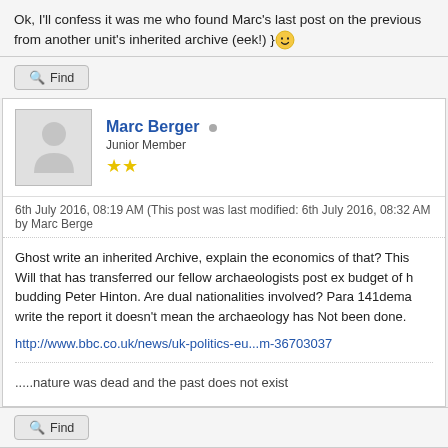Ok, I'll confess it was me who found Marc's last post on the previous from another unit's inherited archive (eek!) 😀
Find
Marc Berger
Junior Member
★★
6th July 2016, 08:19 AM (This post was last modified: 6th July 2016, 08:32 AM by Marc Berge
Ghost write an inherited Archive, explain the economics of that? This Will that has transferred our fellow archaeologists post ex budget of h budding Peter Hinton. Are dual nationalities involved? Para 141dema write the report it doesn't mean the archaeology has Not been done.
http://www.bbc.co.uk/news/uk-politics-eu...m-36703037
.....nature was dead and the past does not exist
Find